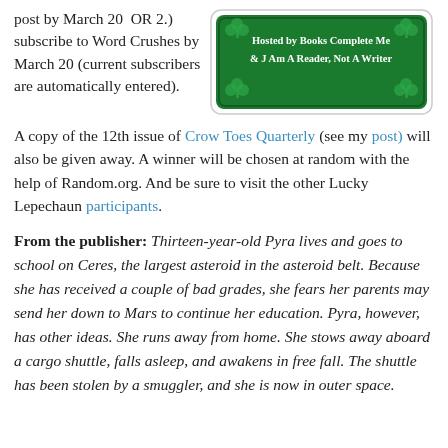post by March 20  OR 2.) subscribe to Word Crushes by March 20 (current subscribers are automatically entered). A copy of the 12th issue of Crow Toes Quarterly (see my post) will also be given away. A winner will be chosen at random with the help of Random.org. And be sure to visit the other Lucky Lepechaun participants.
[Figure (illustration): Green banner with shamrock decorations, text reading 'Hosted by Books Complete Me & J Am A Reader, Not A Writer']
From the publisher: Thirteen-year-old Pyra lives and goes to school on Ceres, the largest asteroid in the asteroid belt. Because she has received a couple of bad grades, she fears her parents may send her down to Mars to continue her education. Pyra, however, has other ideas. She runs away from home. She stows away aboard a cargo shuttle, falls asleep, and awakens in free fall. The shuttle has been stolen by a smuggler, and she is now in outer space.